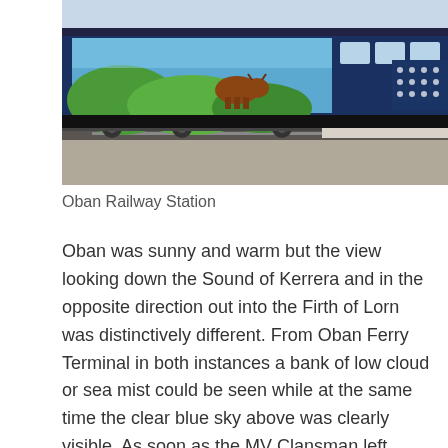[Figure (photo): A ScotRail passenger train with colourful scenic livery (depicting Scottish highlands and wildlife) at Oban Railway Station platform, viewed from the platform side on a bright day.]
Oban Railway Station
Oban was sunny and warm but the view looking down the Sound of Kerrera and in the opposite direction out into the Firth of Lorn was distinctively different. From Oban Ferry Terminal in both instances a bank of low cloud or sea mist could be seen while at the same time the clear blue sky above was clearly visible. As soon as the MV Clansman left Oban Bay and entered the Firth of Lorn, her horn sounded long blasts time and time again. We were